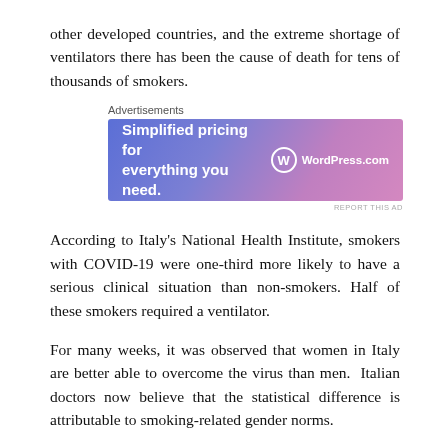other developed countries, and the extreme shortage of ventilators there has been the cause of death for tens of thousands of smokers.
[Figure (screenshot): WordPress.com advertisement banner with text 'Simplified pricing for everything you need.' and WordPress.com logo on a blue-to-purple gradient background.]
According to Italy's National Health Institute, smokers with COVID-19 were one-third more likely to have a serious clinical situation than non-smokers. Half of these smokers required a ventilator.
For many weeks, it was observed that women in Italy are better able to overcome the virus than men. Italian doctors now believe that the statistical difference is attributable to smoking-related gender norms.
COVID-19 kills its victims by compromising the respiratory system and reducing oxygen levels in the blood. Regular cigarette use damages the airways and small air sacs in the